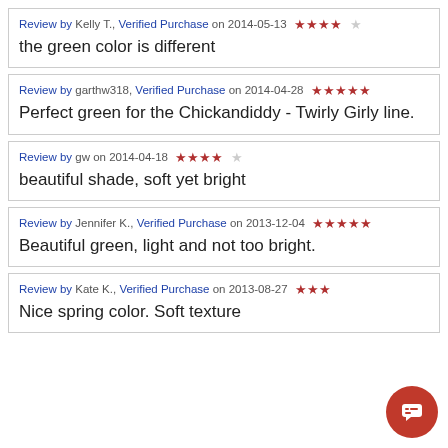Review by Kelly T., Verified Purchase on 2014-05-13 ★★★★☆
the green color is different
Review by garthw318, Verified Purchase on 2014-04-28 ★★★★★
Perfect green for the Chickandiddy - Twirly Girly line.
Review by gw on 2014-04-18 ★★★★☆
beautiful shade, soft yet bright
Review by Jennifer K., Verified Purchase on 2013-12-04 ★★★★★
Beautiful green, light and not too bright.
Review by Kate K., Verified Purchase on 2013-08-27 ★★★☆☆
Nice spring color. Soft texture